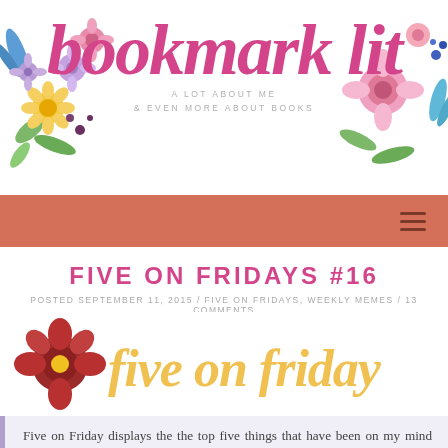[Figure (logo): Bookmark Lit blog logo with pink cursive script text 'bookmark lit', subtitle 'A LOT ABOUT ME & EVEN MORE ABOUT BOOKS', flanked by watercolor flower illustrations on left and right]
navigation bar with hamburger menu icon
FIVE ON FRIDAYS #16
POSTED SEPTEMBER 11, 2015 / FIVE ON FRIDAYS, WEEKLY MEMES / 13 COMMENTS
[Figure (illustration): Five on Friday banner with a red flower on the left and golden-yellow cursive text 'five on friday' on white background]
Five on Friday displays the the top five things that have been on my mind this week! It could be book-related, but it may also cover various topics. They are d